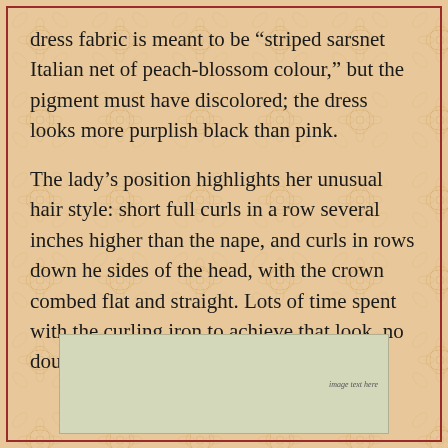dress fabric is meant to be “striped sarsnet Italian net of peach-blossom colour,” but the pigment must have discolored; the dress looks more purplish black than pink.
The lady’s position highlights her unusual hair style: short full curls in a row several inches higher than the nape, and curls in rows down he sides of the head, with the crown combed flat and straight. Lots of time spent with the curling iron to achieve that look, no doubt.
[Figure (photo): A photograph or illustration, partially visible at the bottom of the page, showing a light yellowish-green background with faint text or marking in the upper right area.]